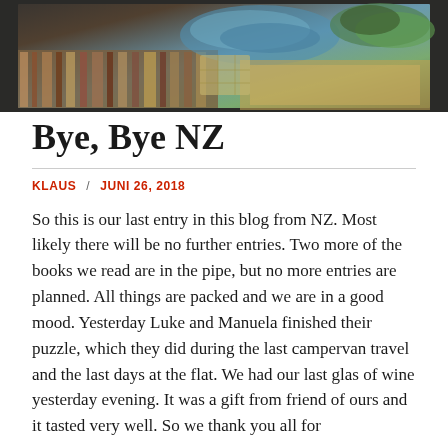[Figure (photo): Top banner photo showing a completed jigsaw puzzle with colorful yarn/fiber and greenery visible, placed on a dark surface]
Bye, Bye NZ
KLAUS / JUNI 26, 2018
So this is our last entry in this blog from NZ. Most likely there will be no further entries. Two more of the books we read are in the pipe, but no more entries are planned. All things are packed and we are in a good mood. Yesterday Luke and Manuela finished their puzzle, which they did during the last campervan travel and the last days at the flat. We had our last glas of wine yesterday evening. It was a gift from friend of ours and it tasted very well. So we thank you all for
READ MORE [...]